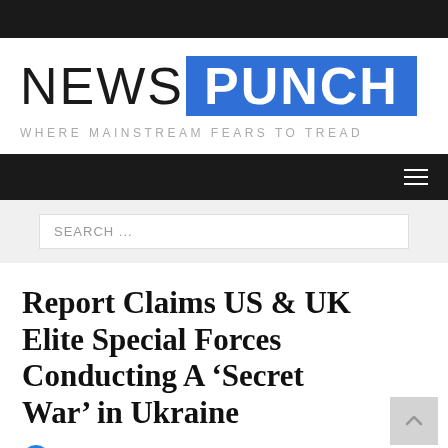[Figure (logo): NewsPunch logo: 'NEWS' in thin black letters, 'PUNCH' in bold white on blue background]
WHERE MAINSTREAM FEARS TO TREAD
[Figure (other): Black navigation bar with hamburger menu icon on right]
[Figure (other): Search bar with placeholder text 'SEARCH ...']
Report Claims US & UK Elite Special Forces Conducting A ‘Secret War’ in Ukraine
Fact checked